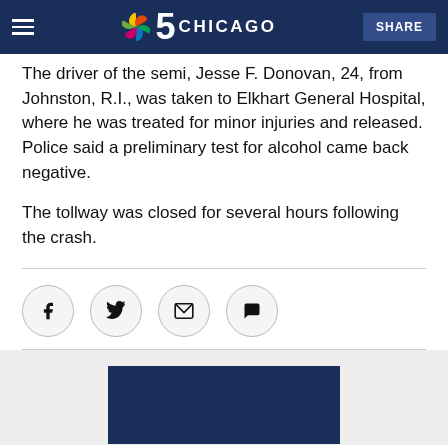NBC 5 Chicago — SHARE
The driver of the semi, Jesse F. Donovan, 24, from Johnston, R.I., was taken to Elkhart General Hospital, where he was treated for minor injuries and released. Police said a preliminary test for alcohol came back negative.
The tollway was closed for several hours following the crash.
[Figure (other): Social share icons: Facebook, Twitter, Email, Comment]
[Figure (other): Dark navy blue rectangle image/video placeholder at bottom of page]